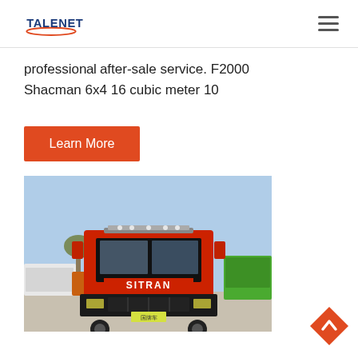TALENET
professional after-sale service. F2000 Shacman 6x4 16 cubic meter 10
Learn More
[Figure (photo): Front view of a red SITRAN/Shacman dump truck parked in a yard, with green dump trucks visible on the right and other vehicles in the background.]